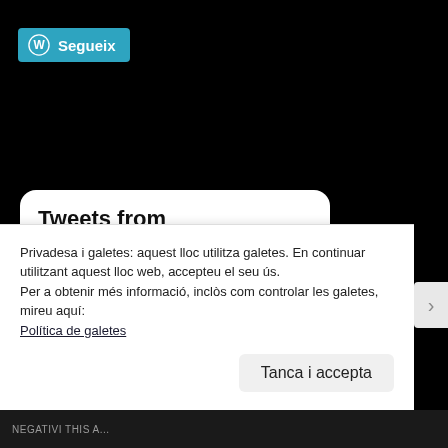[Figure (screenshot): WordPress 'Segueix' (Follow) button with WordPress logo on teal/blue background]
Tweets from @AYNIBiology
AllYouNeedIsBiology Retweeted
Privadesa i galetes: aquest lloc utilitza galetes. En continuar utilitzant aquest lloc web, accepteu el seu ús.
Per a obtenir més informació, inclòs com controlar les galetes, mireu aquí:
Política de galetes
Tanca i accepta